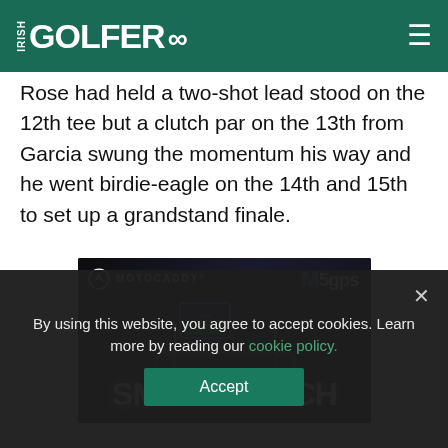IRISH GOLFER
Rose had held a two-shot lead stood on the 12th tee but a clutch par on the 13th from Garcia swung the momentum his way and he went birdie-eagle on the 14th and 15th to set up a grandstand finale.
[Figure (photo): Motocaddy M5 GPS Smart Touch advertisement showing a golf trolley with the text SMART TOUCH and MOTOCADDY M5gps branding]
By using this website, you agree to accept cookies. Learn more by reading our cookie policy.
Accept